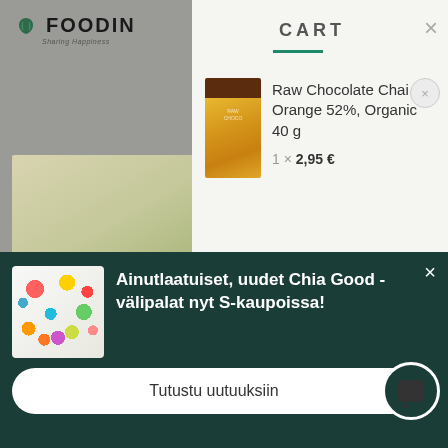[Figure (screenshot): FOODIN brand logo with leaf icon and 'Sharing Happiness' tagline on dimmed background]
[Figure (photo): Overhead food photo showing a bowl of grains/salad with herbs, partially visible on dimmed left background]
CART
[Figure (photo): Product image of Raw Chocolate Chai Orange 52% Organic 40g chocolate bar]
Raw Chocolate Chai Orange 52%, Organic 40 g
1 × 2,95 €
[Figure (photo): Colorful mixed fruits, berries, and seeds promotional image for Chia Good snacks]
Ainutlaatuiset, uudet Chia Good -välipalat nyt S-kaupoissa!
Tutustu uutuuksiin